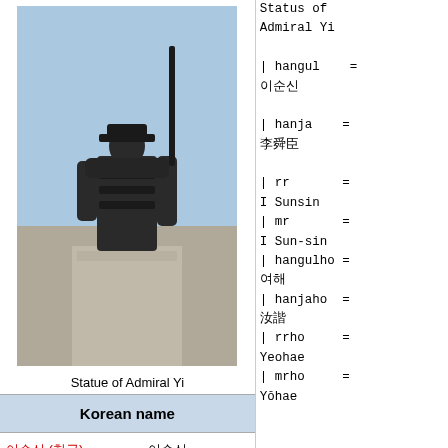[Figure (photo): Statue of Admiral Yi, a large bronze statue on a stone pedestal against a blue sky]
Statue of Admiral Yi
| Label | Value |
| --- | --- |
| 이순신 (hangul) | 이순신 |
| 李舜臣 (hanja) | 李舜臣 |
| Revised Romanization | I Sunsin |
| McCune–Reischauer | I Sun-sin |
Status of Admiral Yi | hangul = 이순신 | hanja = 李舜臣 | rr = I Sunsin | mr = I Sun-sin | hangulho = 여해 | hanjaho = 汝諧 | rrho = Yeohae | mrho = Yŏhae